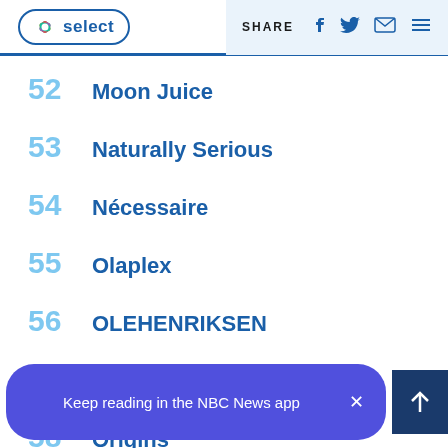NBC Select | SHARE
52  Moon Juice
53  Naturally Serious
54  Nécessaire
55  Olaplex
56  OLEHENRIKSEN
57  Original & Mineral
58  Origins
59  Playa
Keep reading in the NBC News app